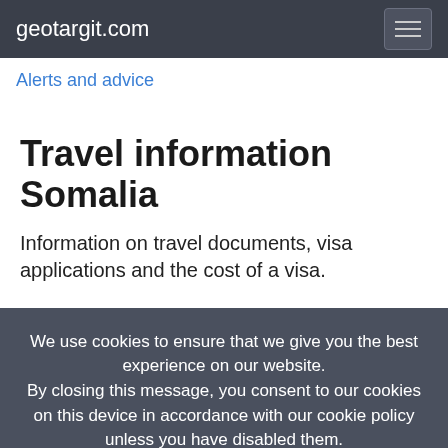geotargit.com
Alerts and advice
Travel information Somalia
Information on travel documents, visa applications and the cost of a visa.
We use cookies to ensure that we give you the best experience on our website. By closing this message, you consent to our cookies on this device in accordance with our cookie policy unless you have disabled them.
I Agree!